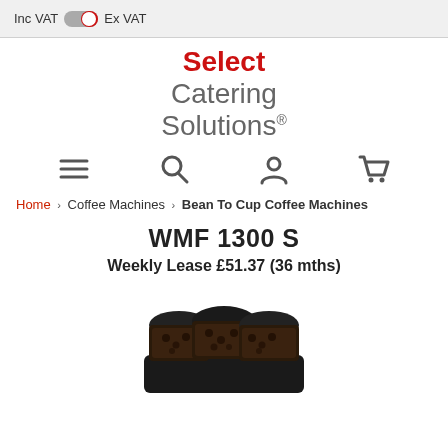Inc VAT  Ex VAT
[Figure (logo): Select Catering Solutions logo with red Select text and grey Catering Solutions text]
[Figure (infographic): Navigation icons: hamburger menu, search, user account, shopping cart]
Home › Coffee Machines › Bean To Cup Coffee Machines
WMF 1300 S
Weekly Lease £51.37 (36 mths)
[Figure (photo): WMF 1300 S bean to cup coffee machine with three bean hoppers visible at top]